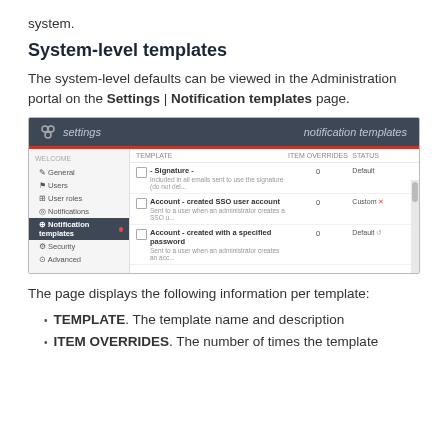system.
System-level templates
The system-level defaults can be viewed in the Administration portal on the Settings | Notification templates page.
[Figure (screenshot): Screenshot of the Administration portal Settings | Notification templates page showing a table with columns TEMPLATE, ITEM OVERRIDES, STATUS listing: - Signature (Default, 0 overrides), Account - created SSO user account (Custom, 0 overrides), Account - created with a specified password (Default, 0 overrides). Left sidebar shows menu items: General, Users, User roles, Notifications, Notification templates (active), Security, Advanced.]
The page displays the following information per template:
TEMPLATE. The template name and description
ITEM OVERRIDES. The number of times the template